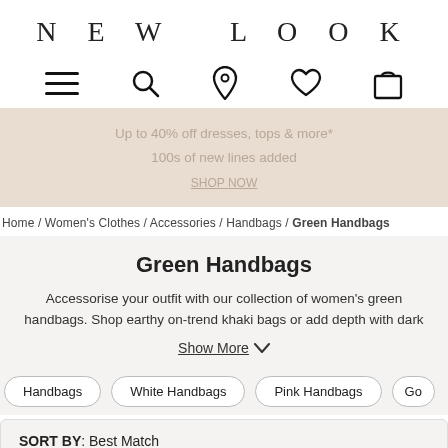NEW LOOK
[Figure (infographic): Navigation icons: hamburger menu, search, location pin, heart/wishlist, shopping bag]
Up to 40% off dresses, tops & more*
100s of new lines added
Home / Women's Clothes / Accessories / Handbags / Green Handbags
Green Handbags
Accessorise your outfit with our collection of women's green handbags. Shop earthy on-trend khaki bags or add depth with dark
Show More
Handbags
White Handbags
Pink Handbags
Go
SORT BY: Best Match